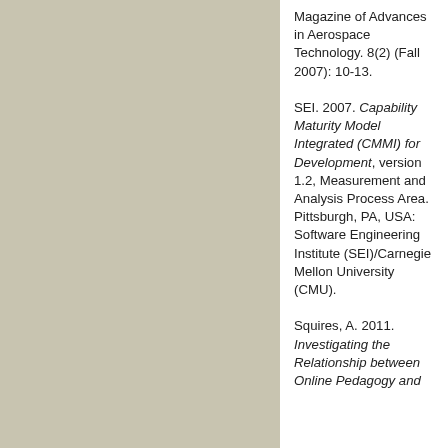Magazine of Advances in Aerospace Technology. 8(2) (Fall 2007): 10-13.
SEI. 2007. Capability Maturity Model Integrated (CMMI) for Development, version 1.2, Measurement and Analysis Process Area. Pittsburgh, PA, USA: Software Engineering Institute (SEI)/Carnegie Mellon University (CMU).
Squires, A. 2011. Investigating the Relationship between Online Pedagogy and